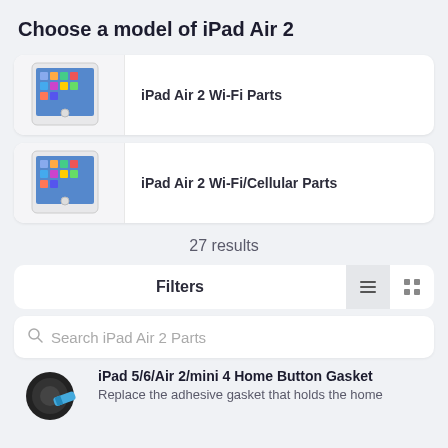Choose a model of iPad Air 2
iPad Air 2 Wi-Fi Parts
iPad Air 2 Wi-Fi/Cellular Parts
27 results
Filters
Search iPad Air 2 Parts
iPad 5/6/Air 2/mini 4 Home Button Gasket
Replace the adhesive gasket that holds the home